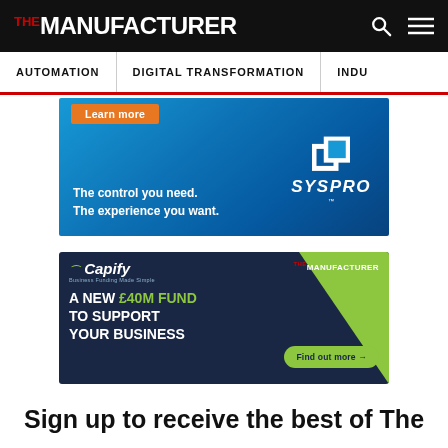THE MANUFACTURER
[Figure (screenshot): Navigation bar with AUTOMATION, DIGITAL TRANSFORMATION, INDU... menu items]
[Figure (infographic): SYSPRO advertisement banner: 'Learn more' button, 'The control you need. The experience you want.' with SYSPRO logo]
[Figure (infographic): Capify advertisement: 'A NEW £40M FUND TO SUPPORT YOUR BUSINESS' with 'Find out more →' button, co-branded with The Manufacturer]
Sign up to receive the best of The